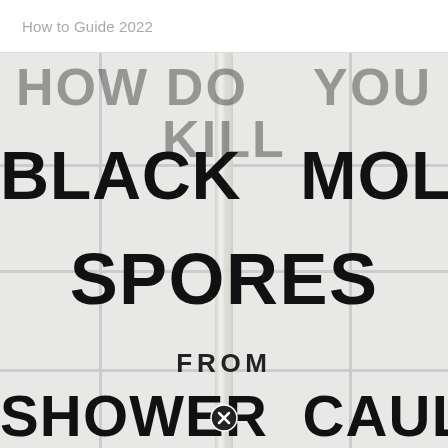How to Guide 2022
[Figure (photo): Cover image showing white shower tile and caulking background with large bold black text overlay reading 'BLACK MOLD SPORES FROM SHOWER CAULKING', with partial text cut off at top, and a close/cancel button icon at the bottom center.]